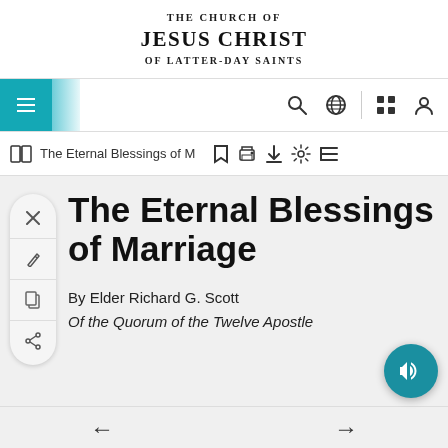THE CHURCH OF JESUS CHRIST OF LATTER-DAY SAINTS
[Figure (screenshot): Navigation bar with hamburger menu in teal, search icon, globe icon, grid icon, user icon]
[Figure (screenshot): Toolbar with book icon, 'The Eternal Blessings of M' title text, bookmark, print, download, settings, list icons]
The Eternal Blessings of Marriage
By Elder Richard G. Scott
Of the Quorum of the Twelve Apostles